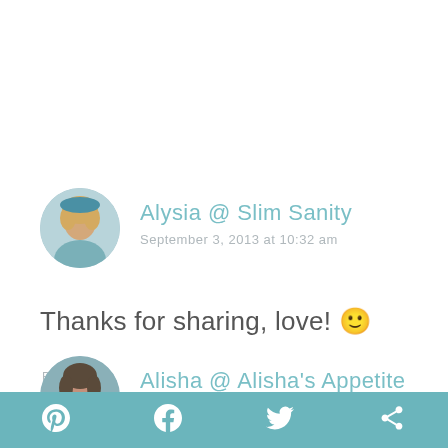[Figure (photo): Circular avatar photo of Alysia, a blonde woman]
Alysia @ Slim Sanity
September 3, 2013 at 10:32 am
Thanks for sharing, love! 🙂
REPLY
[Figure (photo): Circular avatar photo of Alisha, a young woman]
Alisha @ Alisha's Appetite
September 2, 2013 at 6:24 pm